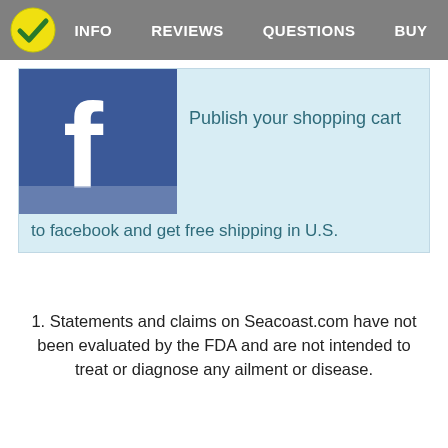INFO  REVIEWS  QUESTIONS  BUY
[Figure (screenshot): Facebook logo icon — blue square background with white lowercase 'f' letter, with a lighter blue-grey bar at the bottom]
Publish your shopping cart to facebook and get free shipping in U.S.
1. Statements and claims on Seacoast.com have not been evaluated by the FDA and are not intended to treat or diagnose any ailment or disease.